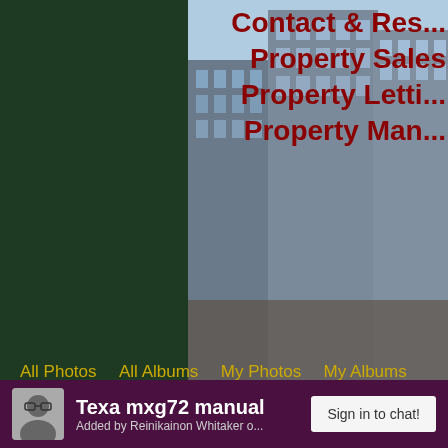[Figure (photo): Partial view of a real estate / property services promotional image showing city office buildings with overlaid text reading 'Contact & Res...', 'Property Sales', 'Property Letti...', 'Property Man...' in dark red bold font on a photo of glass skyscrapers]
All Photos   All Albums   My Photos   My Albums
Texa mxg72 manual
Added by Reinikainon Whitaker o...
Sign in to chat!